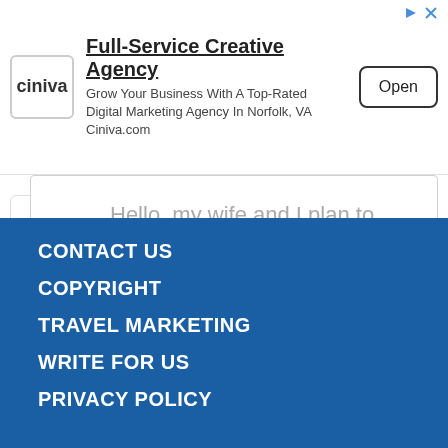[Figure (screenshot): Advertisement banner for Ciniva Full-Service Creative Agency with logo, text, and Open button]
Hello, my wife and I plan to travel in Paris in september. We are renting an airbnb in the Marais...
CONTACT US
COPYRIGHT
TRAVEL MARKETING
WRITE FOR US
PRIVACY POLICY